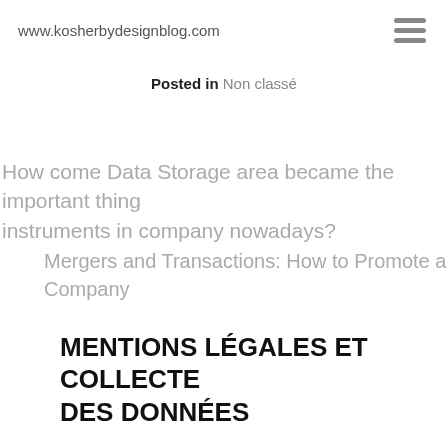www.kosherbydesignblog.com
Posted in Non classé
How come Data Storage area became the important thing instruments in company nowadays?
Mergers and Transactions: How to Promote a Company
MENTIONS LÉGALES ET COLLECTE DES DONNÉES